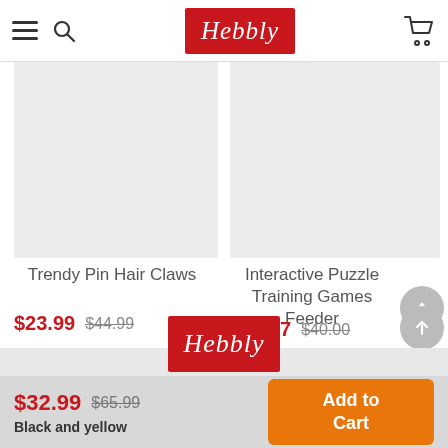Hebbly — navigation header with hamburger, search, logo, and cart icons
[Figure (photo): Product image placeholder (light grey box) for Trendy Pin Hair Claws]
[Figure (photo): Product image placeholder (light grey box) for Interactive Puzzle Training Games Feeder]
Trendy Pin Hair Claws
$23.99  $44.99
Interactive Puzzle Training Games Feeder
$19.97  $40.00
[Figure (logo): Hebbly red logo in footer area]
$32.99  $65.99
Black and yellow
Add to Cart